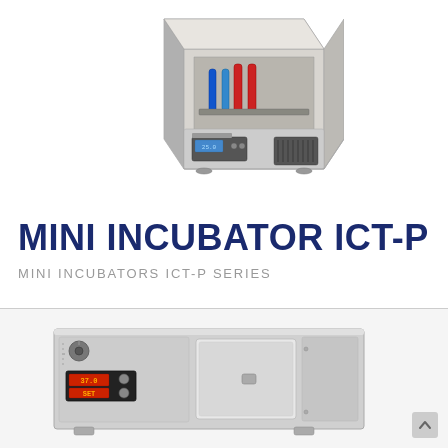[Figure (photo): Photo of Mini Incubator ICT-P device shown from an angle with the lid open, revealing sample tubes inside. The device is gray/beige colored with a digital control panel on the front.]
MINI INCUBATOR ICT-P
MINI INCUBATORS ICT-P SERIES
[Figure (photo): Photo of a larger laboratory incubator device, gray colored, rectangular box shape with a digital display panel and control knob on the front, and a separate door panel on the right side.]